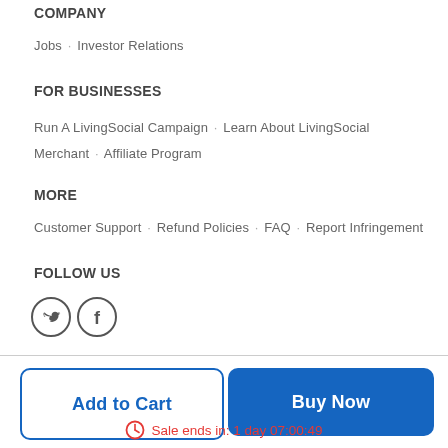COMPANY
Jobs · Investor Relations
FOR BUSINESSES
Run A LivingSocial Campaign · Learn About LivingSocial Merchant · Affiliate Program
MORE
Customer Support · Refund Policies · FAQ · Report Infringement
FOLLOW US
[Figure (illustration): Twitter and Facebook social media icons (circular outlines with bird and F symbols)]
Add to Cart
Buy Now
Sale ends in: 1 day 07:00:49